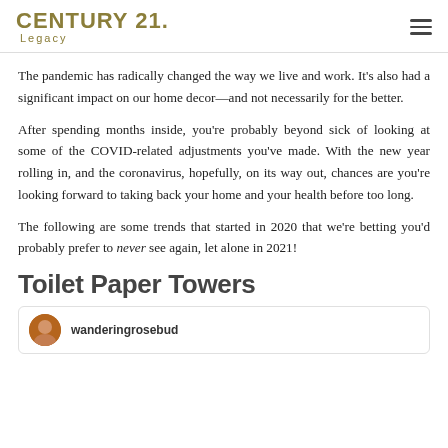CENTURY 21. Legacy
The pandemic has radically changed the way we live and work. It's also had a significant impact on our home decor—and not necessarily for the better.
After spending months inside, you're probably beyond sick of looking at some of the COVID-related adjustments you've made. With the new year rolling in, and the coronavirus, hopefully, on its way out, chances are you're looking forward to taking back your home and your health before too long.
The following are some trends that started in 2020 that we're betting you'd probably prefer to never see again, let alone in 2021!
Toilet Paper Towers
[Figure (screenshot): Social media post preview with avatar and username 'wanderingrosebu d']